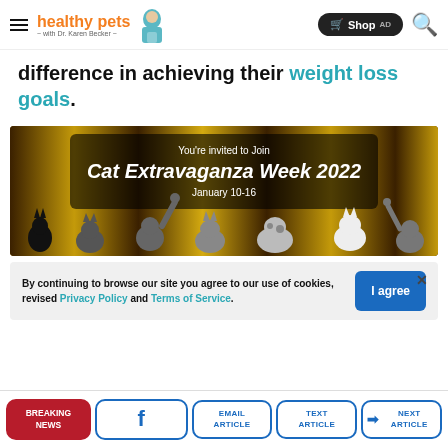healthy pets with Dr. Karen Becker — Shop AD
difference in achieving their weight loss goals.
[Figure (photo): Cat Extravaganza Week 2022 promotional banner — You're invited to Join Cat Extravaganza Week 2022 January 10-16, with cats against a gold curtain background]
By continuing to browse our site you agree to our use of cookies, revised Privacy Policy and Terms of Service.
BREAKING NEWS | Facebook | EMAIL ARTICLE | TEXT ARTICLE | NEXT ARTICLE